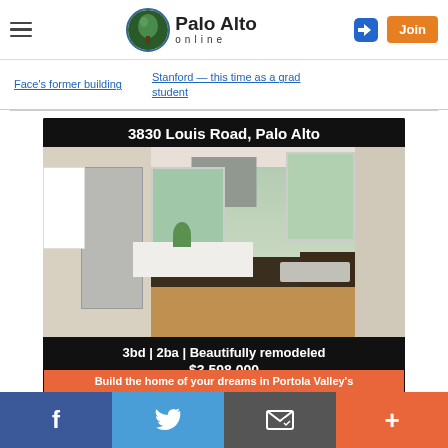Palo Alto Online — header with hamburger menu, logo, login icon, and Join button
Face's former building
Stanford — this time as a grad student
[Figure (infographic): Real estate advertisement for 3830 Louis Road, Palo Alto. Shows a modern remodeled kitchen photo. Text: 3bd | 2ba | Beautifully remodeled $3,598,000. Agent Tom Correia, DRE 01352555. LEARN MORE button. Intero — A Berkshire Hathaway Affiliate logo.]
Build the home of your dreams in Portola Valley's
Facebook | Twitter | Email | Plus social sharing bar